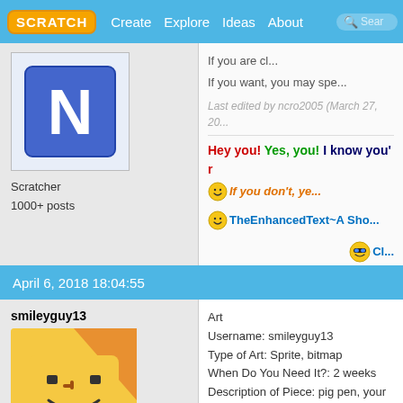SCRATCH | Create | Explore | Ideas | About | Search
If you are cl... If you want, you may spe...
Last edited by ncro2005 (March 27, 20...
Hey you! Yes, you! I know you'... If you don't, ye...
TheEnhancedText~A Sho...
Scratcher
1000+ posts
April 6, 2018 18:04:55
smileyguy13
Art
Username: smileyguy13
Type of Art: Sprite, bitmap
When Do You Need It?: 2 weeks
Description of Piece: pig pen, your ave...
Other: Aerial front view.

Thank you!
Scratcher
19 posts